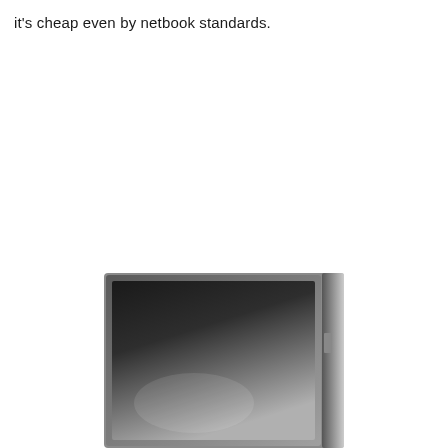it's cheap even by netbook standards.
[Figure (photo): A laptop or monitor screen partially open, shown in grayscale/silver tones, with a dark reflective display panel and metallic silver border/chassis, photographed at a slight angle from the front.]